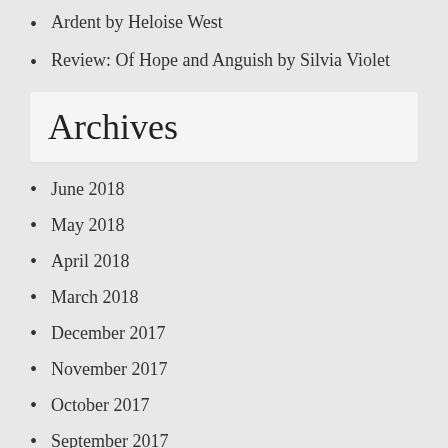Ardent by Heloise West
Review: Of Hope and Anguish by Silvia Violet
Archives
June 2018
May 2018
April 2018
March 2018
December 2017
November 2017
October 2017
September 2017
July 2017
June 2017
May 2017
March 2017
February 2017